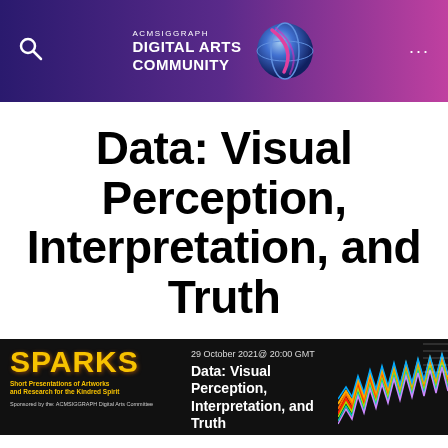ACMSIGGRAPH DIGITAL ARTS COMMUNITY
Data: Visual Perception, Interpretation, and Truth
[Figure (infographic): SPARKS banner: Short Presentations of Artworks and Research for the Kindred Spirit. 29 October 2021@ 20:00 GMT. Data: Visual Perception, Interpretation, and Truth. Sponsored by the ACMSIGGRAPH Digital Arts Committee. Right side shows colorful waveform visualization.]
Moderated by Everardo Reyes & Jan Searleman